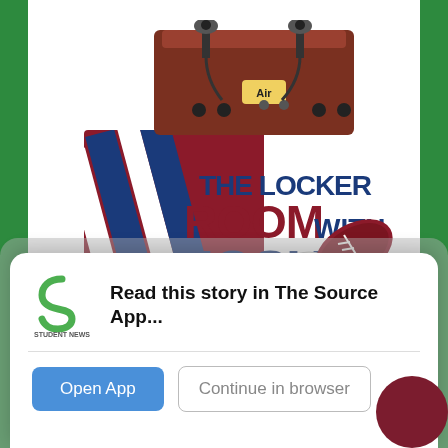[Figure (logo): The Locker Room with Josh and Koz podcast logo. Illustrated cartoon radio desk with microphones and 'Air' sign on top, with bold text reading 'THE LOCKER ROOM WITH JOSH AND KOZ' in dark red and navy colors, surrounded by sports balls (football, baseball, basketball) and diagonal striped graphic elements in red, blue, and white.]
[Figure (screenshot): Mobile app prompt overlay with Student News Source logo (green S icon), text 'Read this story in The Source App...', a blue 'Open App' button, and a gray-outlined 'Continue in browser' button.]